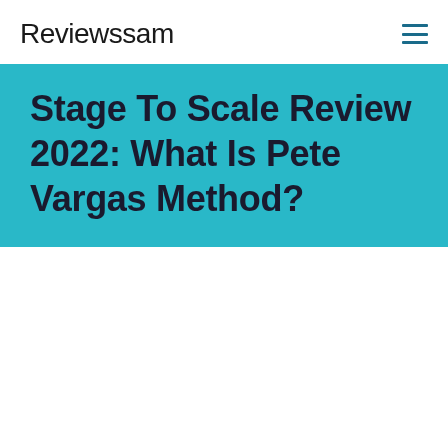Reviewssam
Stage To Scale Review 2022: What Is Pete Vargas Method?